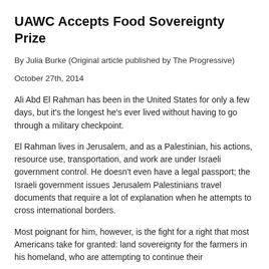UAWC Accepts Food Sovereignty Prize
By Julia Burke (Original article published by The Progressive)
October 27th, 2014
Ali Abd El Rahman has been in the United States for only a few days, but it's the longest he's ever lived without having to go through a military checkpoint.
El Rahman lives in Jerusalem, and as a Palestinian, his actions, resource use, transportation, and work are under Israeli government control. He doesn't even have a legal passport; the Israeli government issues Jerusalem Palestinians travel documents that require a lot of explanation when he attempts to cross international borders.
Most poignant for him, however, is the fight for a right that most Americans take for granted: land sovereignty for the farmers in his homeland, who are attempting to continue their